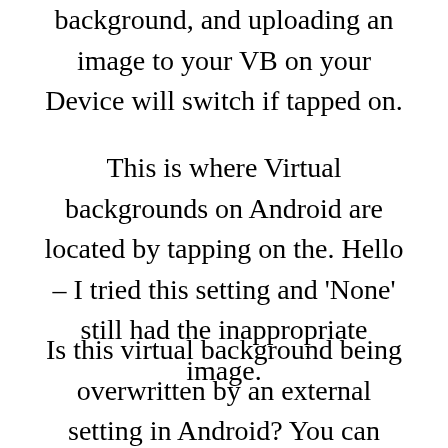background, and uploading an image to your VB on your Device will switch if tapped on.
This is where Virtual backgrounds on Android are located by tapping on the. Hello – I tried this setting and ‘None’ still had the inappropriate image.
Is this virtual background being overwritten by an external setting in Android? You can look into our System requirements for Android. Zoom Community. Supporting a